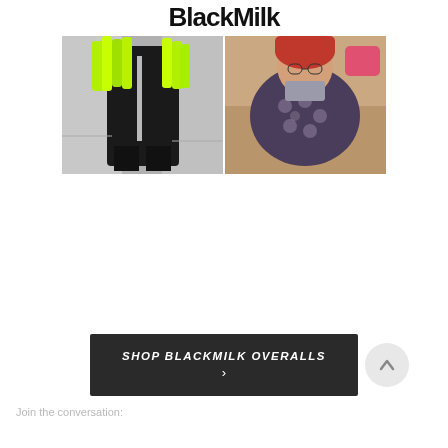BlackMilk
[Figure (photo): Person wearing black and white outfit with neon green hair/accessories, standing on stairs with large platform boots]
[Figure (photo): Person wearing floral/skull print overalls, lying back wearing round glasses]
[Figure (infographic): Dark banner with text: SHOP BLACKMILK OVERALLS with an arrow pointing right, and a back-to-top circular button]
Join the conversation: